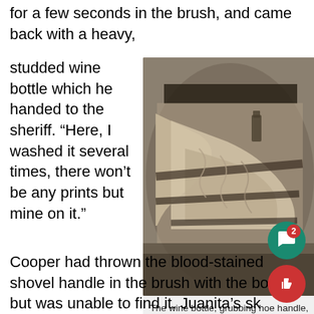for a few seconds in the brush, and came back with a heavy,
studded wine bottle which he handed to the sheriff. “Here, I washed it several times, there won’t be any prints but mine on it.”
[Figure (photo): Black and white photograph of the wine bottle, grubbing hoe handle, pocketknife and clothing worn by Cooper the night of Juanita Kelly's murder, laid out on a surface.]
The wine bottle, grubbing hoe handle, pocketknife & clothing worn by Cooper the night of Juanita Kelly’s murder.
Cooper had thrown the blood-stained shovel handle in the brush with the bottle but was unable to find it. Juanita’s sk…